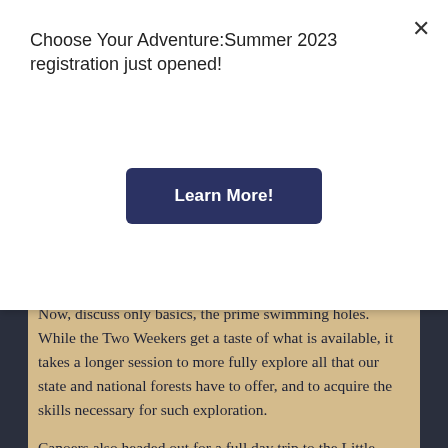Choose Your Adventure: Summer 2023 registration just opened!
Learn More!
Now, discuss only basics, the prime swimming holes.  While the Two Weekers get a taste of what is available, it takes a longer session to more fully explore all that our state and national forests have to offer, and to acquire the skills necessary for such exploration.
Canoers also headed out for a full day trip to the Little Tennessee to get the next level of whitewater experience.  The increased length of the river and more powerful currents make the partner pairs work together to control the 15 foot canoes in order to avoid rocks, get speed boosts with the currents. Mine also had other text.